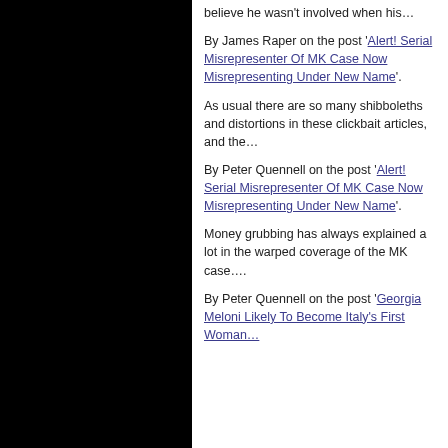believe he wasn't involved when his…
By James Raper on the post 'Alert! Serial Misrepresenter Of MK Case Now Misrepresenting Under New Name'.
As usual there are so many shibboleths and distortions in these clickbait articles, and the…
By Peter Quennell on the post 'Alert! Serial Misrepresenter Of MK Case Now Misrepresenting Under New Name'.
Money grubbing has always explained a lot in the warped coverage of the MK case….
By Peter Quennell on the post 'Georgia Meloni Likely To Become Italy's First Woman…